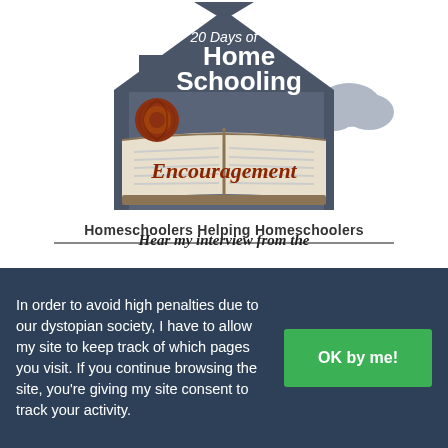[Figure (logo): 20 Days of Home Schooling Encouragement logo — house shape in slate gray with open book, brown decorative rose, text '20 Days of Home Schooling' in white on dark background, 'Encouragement' in brown script on the book pages, subtitle 'Homeschoolers Helping Homeschoolers' in bold below]
Hear my interview from the
In order to avoid high penalties due to our dystopian society, I have to allow my site to keep track of which pages you visit. If you continue browsing the site, you're giving my site consent to track your activity.
OK by me!